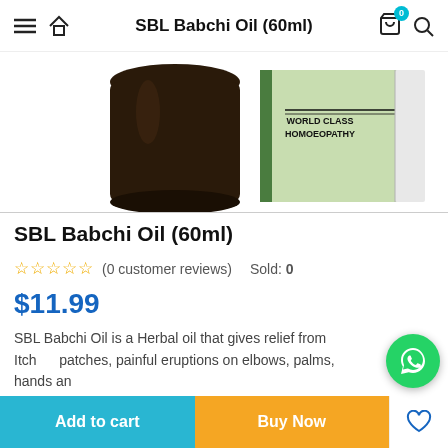SBL Babchi Oil (60ml)
[Figure (photo): Product photo of SBL Babchi Oil 60ml bottle (dark brown glass bottle) next to green product box labeled WORLD CLASS HOMOEOPATHY]
SBL Babchi Oil (60ml)
(0 customer reviews)  Sold: 0
$11.99
SBL Babchi Oil is a Herbal oil that gives relief from Itching patches, painful eruptions on elbows, palms, hands and dryness of skin.